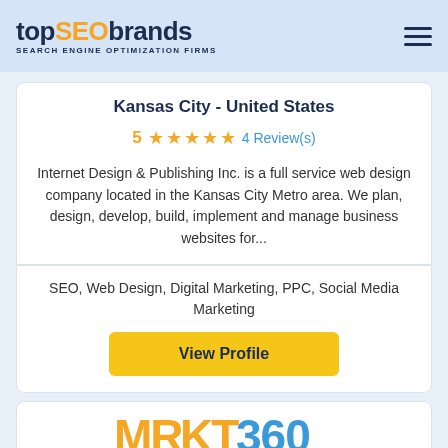topSEObrands SEARCH ENGINE OPTIMIZATION FIRMS
Kansas City - United States
5 ★★★★★ 4 Review(s)
Internet Design & Publishing Inc. is a full service web design company located in the Kansas City Metro area. We plan, design, develop, build, implement and manage business websites for...
SEO, Web Design, Digital Marketing, PPC, Social Media Marketing
View Profile
[Figure (logo): MRKT360 logo in orange and blue]